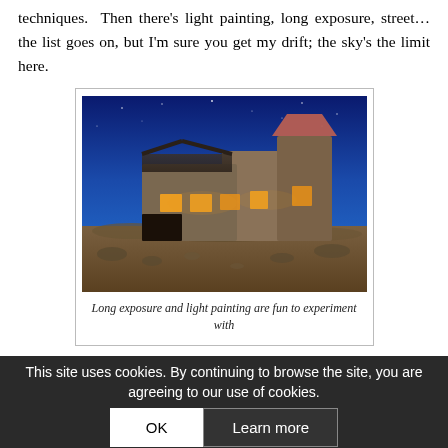techniques.  Then there's light painting, long exposure, street… the list goes on, but I'm sure you get my drift; the sky's the limit here.
[Figure (photo): Photograph of an old ruined building lit with warm light painting against a deep blue night sky, surrounded by rocky desert terrain.]
Long exposure and light painting are fun to experiment with
4. Travel to a new destination:
Whenever I arrive in a new destination I can feel the creative ju... and the best way to explore is to get ou... and go walka...out. You don't need to travel very far from home ever...